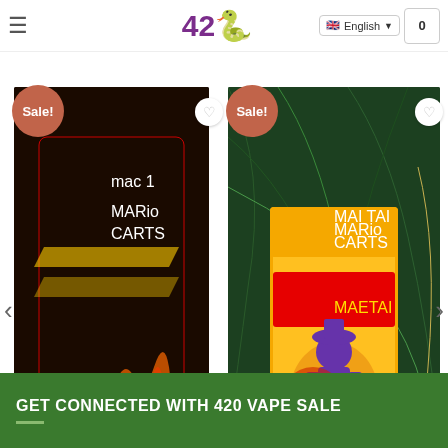42🐉 | English | 0
RELATED PRODUCTS
[Figure (photo): Product photo of MAC 1 Mario Carts vape cartridge packaging with cartoon ninja turtle character on dark background with flames. Sale badge in top left corner.]
MARIO CARTS
MAC 1
$60.00  $25.00
[Figure (photo): Product photo of Mai-Tai Mario Carts Sativa vape cartridge packaging showing cartoon character against tropical palm leaf background. Sale badge in top left corner.]
MARIO CARTS
MAI-TAI CARTS
$35.00  $25.00
GET CONNECTED WITH 420 VAPE SALE